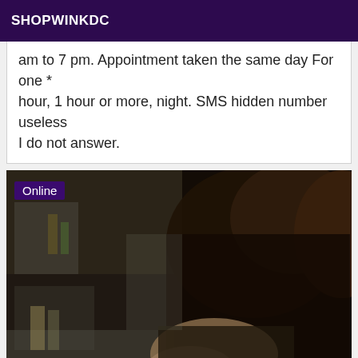SHOPWINKDC
am to 7 pm. Appointment taken the same day For one * hour, 1 hour or more, night. SMS hidden number useless I do not answer.
[Figure (photo): Dark indoor photo of a person in a kitchen setting with an 'Online' badge overlay in the top left corner]